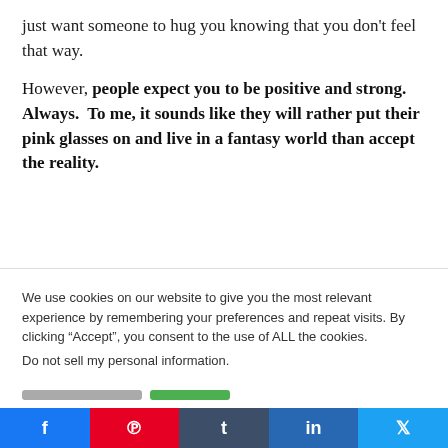just want someone to hug you knowing that you don't feel that way.
However, people expect you to be positive and strong. Always.  To me, it sounds like they will rather put their pink glasses on and live in a fantasy world than accept the reality.
We use cookies on our website to give you the most relevant experience by remembering your preferences and repeat visits. By clicking “Accept”, you consent to the use of ALL the cookies.
Do not sell my personal information.